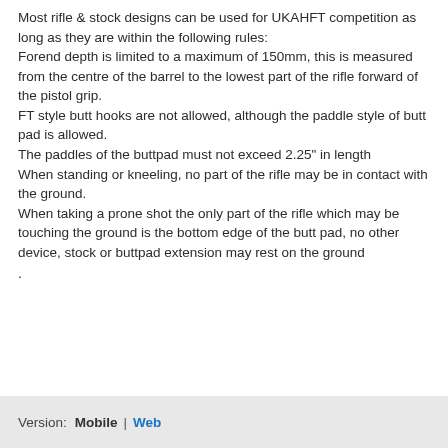Most rifle & stock designs can be used for UKAHFT competition as long as they are within the following rules:
Forend depth is limited to a maximum of 150mm, this is measured from the centre of the barrel to the lowest part of the rifle forward of the pistol grip.
FT style butt hooks are not allowed, although the paddle style of butt pad is allowed.
The paddles of the buttpad must not exceed 2.25" in length
When standing or kneeling, no part of the rifle may be in contact with the ground.
When taking a prone shot the only part of the rifle which may be touching the ground is the bottom edge of the butt pad, no other device, stock or buttpad extension may rest on the ground
.
Version: Mobile | Web